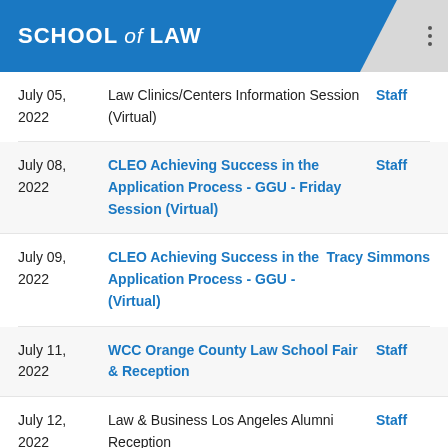SCHOOL of LAW
| Date | Event | Contact |
| --- | --- | --- |
| July 05, 2022 | Law Clinics/Centers Information Session (Virtual) | Staff |
| July 08, 2022 | CLEO Achieving Success in the Application Process - GGU - Friday Session (Virtual) | Staff |
| July 09, 2022 | CLEO Achieving Success in the Application Process - GGU - (Virtual) | Tracy Simmons |
| July 11, 2022 | WCC Orange County Law School Fair & Reception | Staff |
| July 12, 2022 | Law & Business Los Angeles Alumni Reception | Staff |